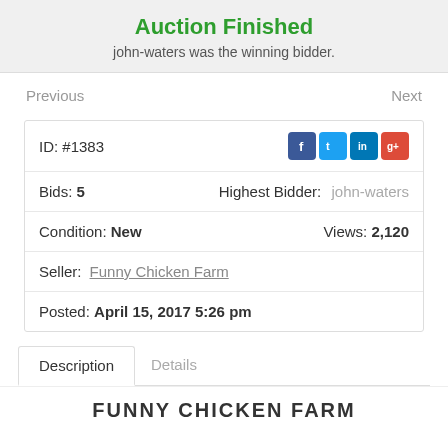Auction Finished
john-waters was the winning bidder.
Previous
Next
| ID: #1383 | Social icons: Facebook, Twitter, LinkedIn, Google+ |
| Bids: 5 | Highest Bidder: john-waters |
| Condition: New | Views: 2,120 |
| Seller: Funny Chicken Farm |  |
| Posted: April 15, 2017 5:26 pm |  |
Description
Details